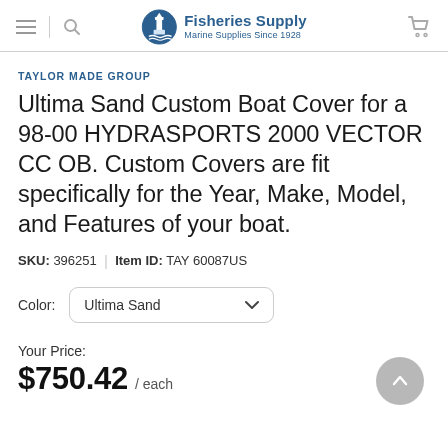Fisheries Supply — Marine Supplies Since 1928
TAYLOR MADE GROUP
Ultima Sand Custom Boat Cover for a 98-00 HYDRASPORTS 2000 VECTOR CC OB. Custom Covers are fit specifically for the Year, Make, Model, and Features of your boat.
SKU: 396251 | Item ID: TAY 60087US
Color: Ultima Sand
Your Price: $750.42 / each